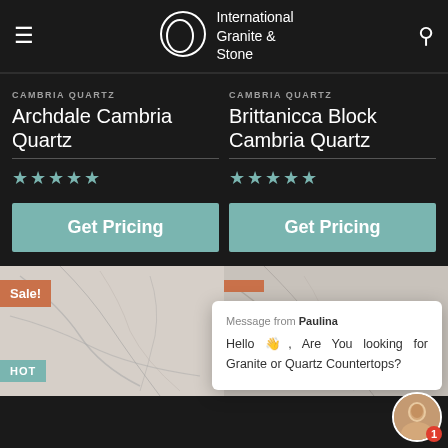International Granite & Stone
CAMBRIA QUARTZ
Archdale Cambria Quartz
CAMBRIA QUARTZ
Brittanicca Block Cambria Quartz
[Figure (screenshot): Two product listing cards for Cambria Quartz products with 5-star ratings and Get Pricing buttons on dark background]
[Figure (photo): Marble texture thumbnails with Sale! and HOT badges]
Message from Paulina
Hello 👋, Are You looking for Granite or Quartz Countertops?